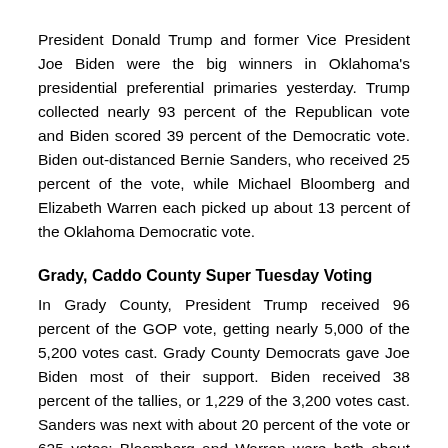President Donald Trump and former Vice President Joe Biden were the big winners in Oklahoma's presidential preferential primaries yesterday. Trump collected nearly 93 percent of the Republican vote and Biden scored 39 percent of the Democratic vote. Biden out-distanced Bernie Sanders, who received 25 percent of the vote, while Michael Bloomberg and Elizabeth Warren each picked up about 13 percent of the Oklahoma Democratic vote.
Grady, Caddo County Super Tuesday Voting
In Grady County, President Trump received 96 percent of the GOP vote, getting nearly 5,000 of the 5,200 votes cast. Grady County Democrats gave Joe Biden most of their support. Biden received 38 percent of the tallies, or 1,229 of the 3,200 votes cast. Sanders was next with about 20 percent of the vote or 625 votes; Bloomberg and Warren were both about 13